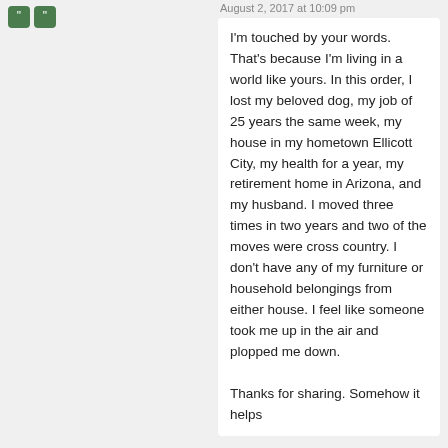August 2, 2017 at 10:09 pm
I'm touched by your words. That's because I'm living in a world like yours. In this order, I lost my beloved dog, my job of 25 years the same week, my house in my hometown Ellicott City, my health for a year, my retirement home in Arizona, and my husband. I moved three times in two years and two of the moves were cross country. I don't have any of my furniture or household belongings from either house. I feel like someone took me up in the air and plopped me down.

Thanks for sharing. Somehow it helps